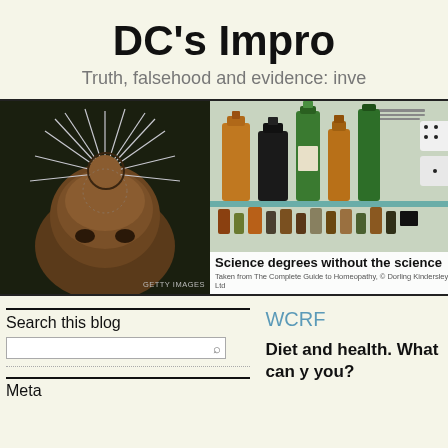DC's Impro
Truth, falsehood and evidence: inve
[Figure (photo): Close-up of a person's head covered with acupuncture needles against a dark background, with GETTY IMAGES watermark]
[Figure (photo): Multiple homeopathic medicine bottles of various sizes and colors arranged on shelves]
Science degrees without the science
Taken from The Complete Guide to Homeopathy, © Dorling Kindersley Ltd
Search this blog
WCRF
Diet and health. What can y you?
Meta